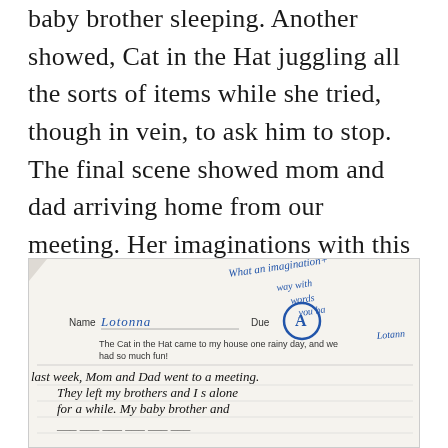baby brother sleeping. Another showed, Cat in the Hat juggling all the sorts of items while she tried, though in vein, to ask him to stop. The final scene showed mom and dad arriving home from our meeting. Her imaginations with this assignment, as with so many others, are the necessary jolt I need, to wake up from my slumber.
[Figure (photo): A photograph of a child's handwritten school worksheet. At the top right, a teacher has written 'What an imagination+ way with words you ha[ve]' in blue ink. The name line reads 'Lotonna' and a circled letter grade 'A' appears near the Due field. The printed prompt reads 'The Cat in the Hat came to my house one rainy day, and we had so much fun!' The child's handwriting below reads: 'last week, Mom and Dad went to a meeting. They left my brothers and I s alone for a while. My baby brother and [continues]'. The teacher also wrote 'Lotann[a]' in cursive in the margin.]